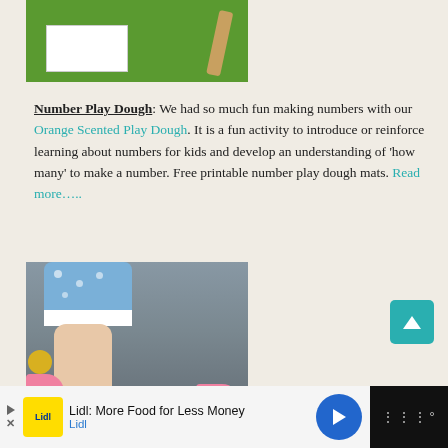[Figure (photo): Top portion of a photo showing green background with a white card/paper and a rolling pin, related to play dough activity]
Number Play Dough: We had so much fun making numbers with our Orange Scented Play Dough. It is a fun activity to introduce or reinforce learning about numbers for kids and develop an understanding of 'how many' to make a number. Free printable number play dough mats. Read more…..
[Figure (photo): Photo of a child's arm with blue polka-dot sleeve and white cuff, reaching down, with pink shoes and colorful toys visible in the background on a pavement surface]
[Figure (other): Back to top button - teal/green square with upward arrow]
[Figure (other): Advertisement banner: Lidl: More Food for Less Money - Lidl logo with yellow background, navigation arrow icon, and dark right panel with menu icon]